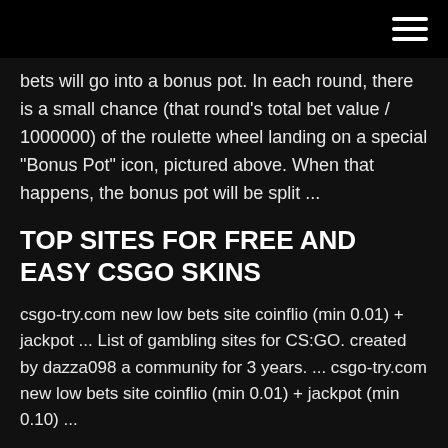bets will go into a bonus pot. In each round, there is a small chance (that round's total bet value / 1000000) of the roulette wheel landing on a special "Bonus Pot" icon, pictured above. When that happens, the bonus pot will be split ...
TOP SITES FOR FREE AND EASY CSGO SKINS
csgo-try.com new low bets site coinflio (min 0.01) + jackpot ... List of gambling sites for CS:GO. created by dazza098 a community for 3 years. ... csgo-try.com new low bets site coinflio (min 0.01) + jackpot (min 0.10) ...
TOP 100: CSGO Jackpot Toplist -